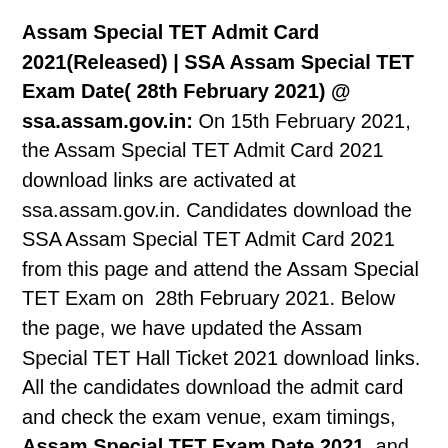Assam Special TET Admit Card 2021(Released) | SSA Assam Special TET Exam Date( 28th February 2021) @ ssa.assam.gov.in: On 15th February 2021, the Assam Special TET Admit Card 2021 download links are activated at ssa.assam.gov.in. Candidates download the SSA Assam Special TET Admit Card 2021 from this page and attend the Assam Special TET Exam on 28th February 2021. Below the page, we have updated the Assam Special TET Hall Ticket 2021 download links. All the candidates download the admit card and check the exam venue, exam timings, Assam Special TET Exam Date 2021, and other more details.
The SSA Assam Special TET Exam Date 2021 is 28th February 2021. The SSA Assam had